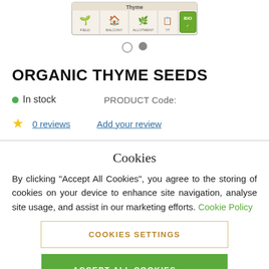[Figure (photo): Seed packet for Thyme with icons and labels]
ORGANIC THYME SEEDS
In stock   PRODUCT Code:
★ 0 reviews   Add your review
Cookies
By clicking "Accept All Cookies", you agree to the storing of cookies on your device to enhance site navigation, analyse site usage, and assist in our marketing efforts. Cookie Policy
COOKIES SETTINGS
ACCEPT ALL COOKIES →